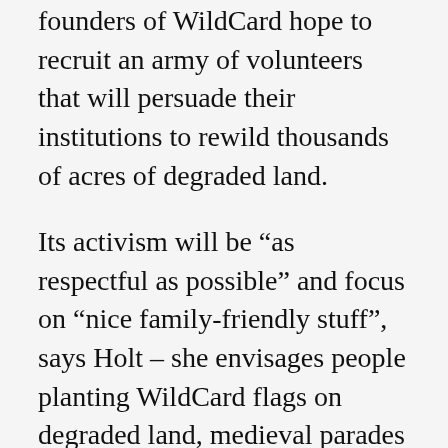founders of WildCard hope to recruit an army of volunteers that will persuade their institutions to rewild thousands of acres of degraded land.
Its activism will be “as respectful as possible” and focus on “nice family-friendly stuff”, says Holt – she envisages people planting WildCard flags on degraded land, medieval parades and church choirs performing rewilding-themed songs. “There’s a real sense of needing to pull together to make this happen,” she says. “We don’t want those groups to immediately tense up, but rather to listen and see themselves as future